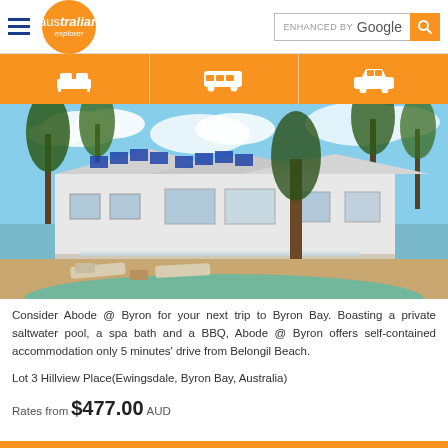australian explorer — ENHANCED BY Google
[Figure (photo): Exterior of Abode @ Byron property showing a white house with solar panels on the roof, palm trees, pool area with sun loungers in the foreground]
Consider Abode @ Byron for your next trip to Byron Bay. Boasting a private saltwater pool, a spa bath and a BBQ, Abode @ Byron offers self-contained accommodation only 5 minutes' drive from Belongil Beach.
Lot 3 Hillview Place(Ewingsdale, Byron Bay, Australia)
Rates from $477.00 AUD